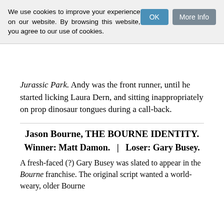We use cookies to improve your experience on our website. By browsing this website, you agree to our use of cookies.
Jurassic Park. Andy was the front runner, until he started licking Laura Dern, and sitting inappropriately on prop dinosaur tongues during a call-back.
Jason Bourne, THE BOURNE IDENTITY.
Winner: Matt Damon.  |  Loser: Gary Busey.
A fresh-faced (?) Gary Busey was slated to appear in the Bourne franchise. The original script wanted a world-weary, older Bourne